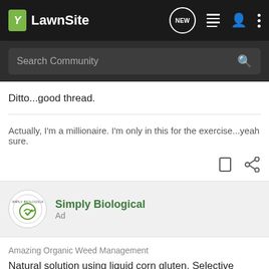[Figure (screenshot): LawnSite navigation bar with logo, NEW chat bubble icon, list icon, person icon, and three-dot menu icon on dark background]
[Figure (screenshot): Search Community search bar on dark grey background with magnifying glass icon]
Ditto...good thread.
Actually, I'm a millionaire. I'm only in this for the exercise...yeah sure.
[Figure (screenshot): Post action icons: bookmark and share]
[Figure (screenshot): Simply Biological ad logo - circular badge with green checkmark leaf]
Simply Biological
Ad
Amazing Organic Weed Management
Natural solution using liquid corn gluten. Selective organic weed and feed management product/program using zero